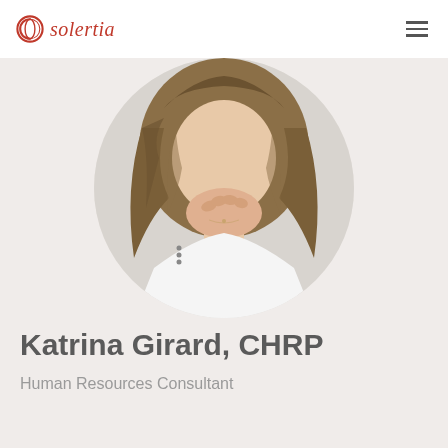solertia
[Figure (photo): Circular cropped profile photo of a woman with long brown hair, hands clasped near her face, wearing a white top.]
Katrina Girard, CHRP
Human Resources Consultant